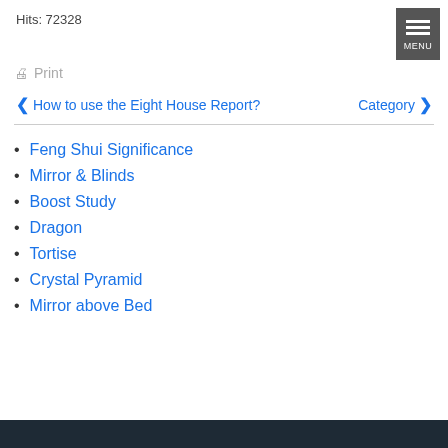Hits: 72328
Print
❮ How to use the Eight House Report?    Category ❯
Feng Shui Significance
Mirror & Blinds
Boost Study
Dragon
Tortise
Crystal Pyramid
Mirror above Bed